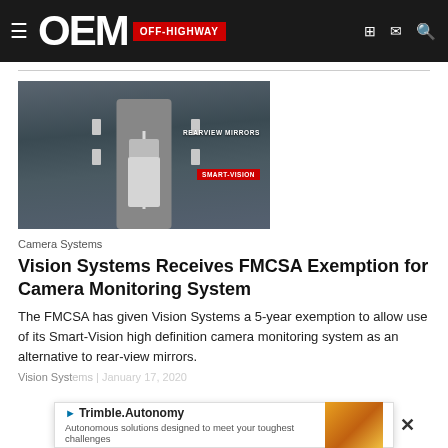OEM OFF-HIGHWAY
[Figure (photo): Aerial/top-down view of a truck on a road showing rearview mirrors and Smart-Vision camera system labels]
Camera Systems
Vision Systems Receives FMCSA Exemption for Camera Monitoring System
The FMCSA has given Vision Systems a 5-year exemption to allow use of its Smart-Vision high definition camera monitoring system as an alternative to rear-view mirrors.
Vision Systems | January 17, 2020